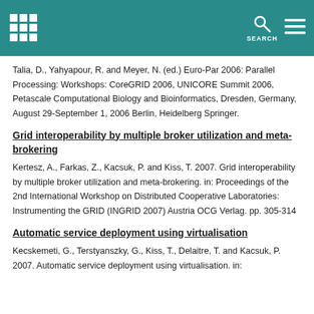SEARCH
Talia, D., Yahyapour, R. and Meyer, N. (ed.) Euro-Par 2006: Parallel Processing: Workshops: CoreGRID 2006, UNICORE Summit 2006, Petascale Computational Biology and Bioinformatics, Dresden, Germany, August 29-September 1, 2006 Berlin, Heidelberg Springer.
Grid interoperability by multiple broker utilization and meta-brokering
Kertesz, A., Farkas, Z., Kacsuk, P. and Kiss, T. 2007. Grid interoperability by multiple broker utilization and meta-brokering. in: Proceedings of the 2nd International Workshop on Distributed Cooperative Laboratories: Instrumenting the GRID (INGRID 2007) Austria OCG Verlag. pp. 305-314
Automatic service deployment using virtualisation
Kecskemeti, G., Terstyanszky, G., Kiss, T., Delaitre, T. and Kacsuk, P. 2007. Automatic service deployment using virtualisation. in: